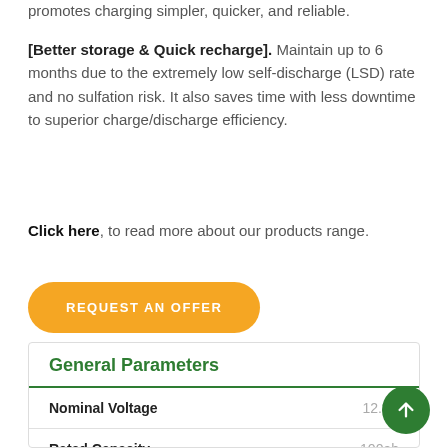promotes charging simpler, quicker, and reliable.
[Better storage & Quick recharge]. Maintain up to 6 months due to the extremely low self-discharge (LSD) rate and no sulfation risk. It also saves time with less downtime to superior charge/discharge efficiency.
Click here, to read more about our products range.
REQUEST AN OFFER
General Parameters
| Parameter | Value |
| --- | --- |
| Nominal Voltage | 12.8V |
| Rated Capacity | 100ah |